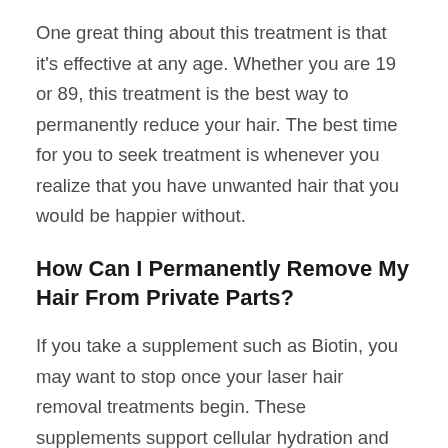One great thing about this treatment is that it's effective at any age. Whether you are 19 or 89, this treatment is the best way to permanently reduce your hair. The best time for you to seek treatment is whenever you realize that you have unwanted hair that you would be happier without.
How Can I Permanently Remove My Hair From Private Parts?
If you take a supplement such as Biotin, you may want to stop once your laser hair removal treatments begin. These supplements support cellular hydration and regeneration without stimulating new hair growth so should not shorten